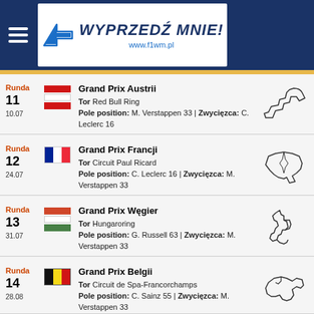WYPRZEDŹ MNIE! www.f1wm.pl
Runda 11 | 10.07 | Grand Prix Austrii | Tor: Red Bull Ring | Pole position: M. Verstappen 33 | Zwycięzca: C. Leclerc 16
Runda 12 | 24.07 | Grand Prix Francji | Tor: Circuit Paul Ricard | Pole position: C. Leclerc 16 | Zwycięzca: M. Verstappen 33
Runda 13 | 31.07 | Grand Prix Węgier | Tor: Hungaroring | Pole position: G. Russell 63 | Zwycięzca: M. Verstappen 33
Runda 14 | 28.08 | Grand Prix Belgii | Tor: Circuit de Spa-Francorchamps | Pole position: C. Sainz 55 | Zwycięzca: M. Verstappen 33